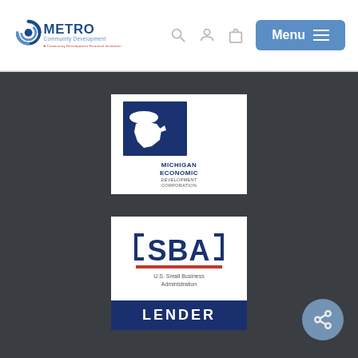METRO Community Development — A Community Development Financial Institution | Menu
[Figure (logo): Michigan Economic Development Corporation logo — dark blue square with white Michigan state silhouette, text: MICHIGAN ECONOMIC DEVELOPMENT CORPORATION]
[Figure (logo): SBA U.S. Small Business Administration Lender logo — SBA letters with bracket design, red underline, text: U.S. Small Business Administration LENDER]